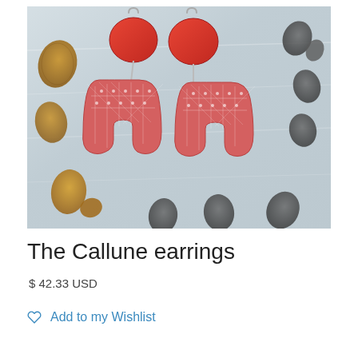[Figure (photo): Product photo of The Callune earrings — pink horseshoe-shaped polymer clay pendants with diamond pattern texture hanging from red circular discs on silver hooks, displayed on a grey wooden surface surrounded by pine cones and dried seed pods.]
The Callune earrings
$ 42.33 USD
Add to my Wishlist